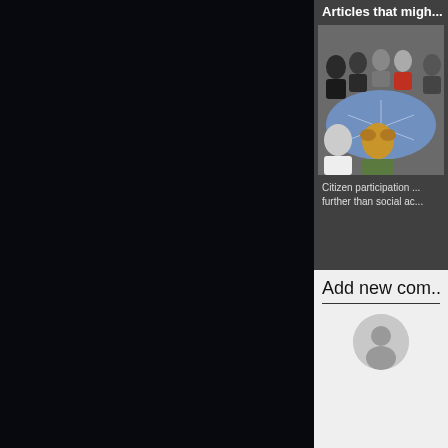[Figure (photo): Dark/black left panel area occupying most of the left side of the page]
Articles that migh...
[Figure (photo): Photo of a group of people gathered around a table looking at a blue map/diagram]
Citizen participation ... further than social ac...
Add new com...
[Figure (other): Default user avatar icon (grey circle with person silhouette)]